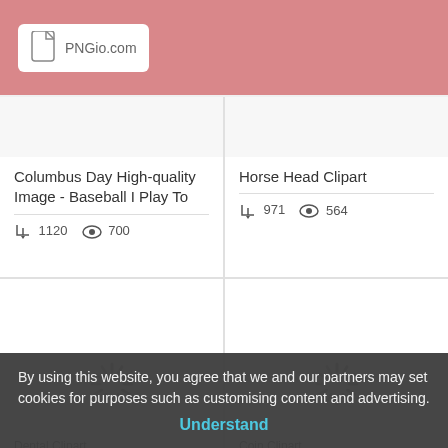PNGio.com
Columbus Day High-quality Image - Baseball I Play To
1120 downloads, 700 views
Horse Head Clipart
971 downloads, 564 views
[Figure (illustration): Loading spinner icon for Dental Clipart image]
Dental Clipart
855 downloads, 450 views
[Figure (illustration): Loading spinner icon for Coin Clipart image]
Coin Clipart
800 downloads, 396 views
By using this website, you agree that we and our partners may set cookies for purposes such as customising content and advertising. Understand